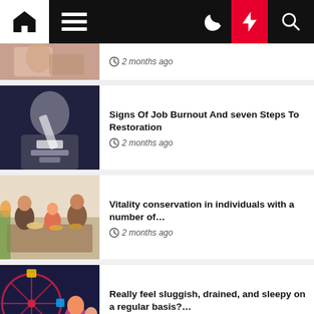Navigation bar with home, menu, moon, bolt, and search icons
2 months ago
Signs Of Job Burnout And seven Steps To Restoration
2 months ago
Vitality conservation in individuals with a number of…
2 months ago
Really feel sluggish, drained, and sleepy on a regular basis?…
2 months ago
Nutritionist affords steerage to most cancers sufferers | Life
2 months ago